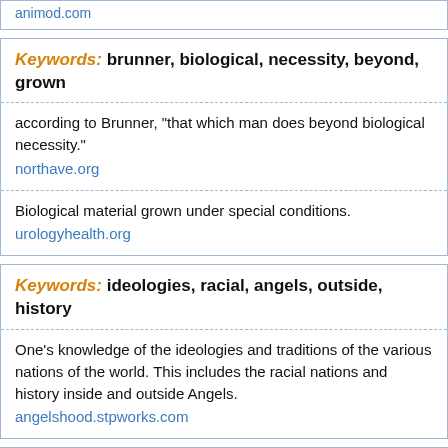animod.com
Keywords: brunner, biological, necessity, beyond, grown
according to Brunner, "that which man does beyond biological necessity."
northave.org
Biological material grown under special conditions.
urologyhealth.org
Keywords: ideologies, racial, angels, outside, history
One's knowledge of the ideologies and traditions of the various nations of the world. This includes the racial nations and history inside and outside Angels.
angelshood.stpworks.com
Keywords: sitcom, episode, october, broadcasted,